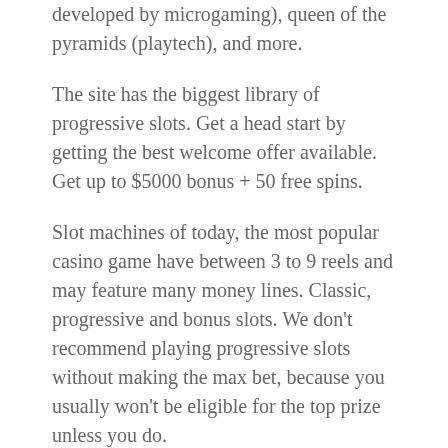developed by microgaming), queen of the pyramids (playtech), and more.
The site has the biggest library of progressive slots. Get a head start by getting the best welcome offer available. Get up to $5000 bonus + 50 free spins.
Slot machines of today, the most popular casino game have between 3 to 9 reels and may feature many money lines. Classic, progressive and bonus slots. We don't recommend playing progressive slots without making the max bet, because you usually won't be eligible for the top prize unless you do.
This casino has a payout rate of 98.26% making it our top pick for real money vegas slot players. Progressive jackpot slots online can make you super rich! When you play real money progressive